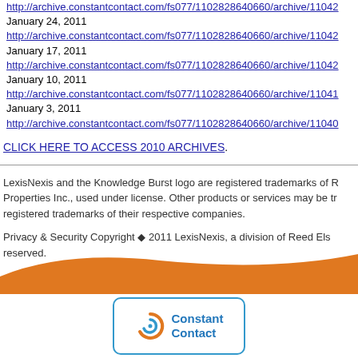http://archive.constantcontact.com/fs077/1102828640660/archive/11042...
January 24, 2011
http://archive.constantcontact.com/fs077/1102828640660/archive/11042...
January 17, 2011
http://archive.constantcontact.com/fs077/1102828640660/archive/11042...
January 10, 2011
http://archive.constantcontact.com/fs077/1102828640660/archive/11041...
January 3, 2011
http://archive.constantcontact.com/fs077/1102828640660/archive/11040...
CLICK HERE TO ACCESS 2010 ARCHIVES.
LexisNexis and the Knowledge Burst logo are registered trademarks of R... Properties Inc., used under license. Other products or services may be tr... registered trademarks of their respective companies.
Privacy & Security Copyright ◆ 2011 LexisNexis, a division of Reed Els... reserved.
[Figure (logo): Constant Contact logo with orange swirl icon and blue text in rounded rectangle border]